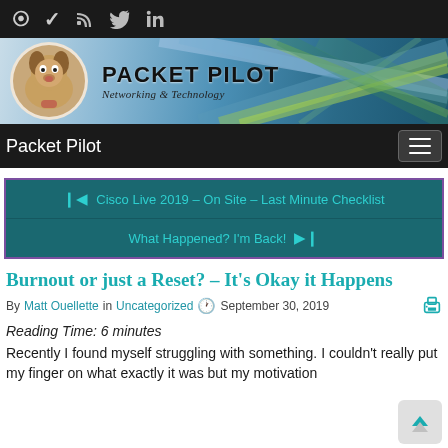RSS Twitter LinkedIn social icons
[Figure (logo): Packet Pilot blog banner with dog logo, title PACKET PILOT, subtitle Networking & Technology, and decorative blue/green diagonal lines]
Packet Pilot — navigation bar with hamburger menu
◀ Cisco Live 2019 – On Site – Last Minute Checklist
What Happened? I'm Back! ▶
Burnout or just a Reset? – It's Okay it Happens
By Matt Ouellette in Uncategorized  🕐 September 30, 2019
Reading Time: 6 minutes
Recently I found myself struggling with something. I couldn't really put my finger on what exactly it was but my motivation